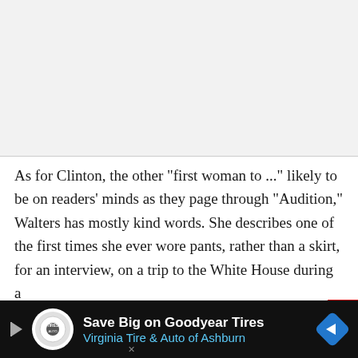[Figure (other): Gray blank area at top of page, likely an image placeholder or advertisement space]
As for Clinton, the other "first woman to ..." likely to be on readers' minds as they page through "Audition," Walters has mostly kind words. She describes one of the first times she ever wore pants, rather than a skirt, for an interview, on a trip to the White House during a
[Figure (other): Advertisement banner: Save Big on Goodyear Tires - Virginia Tire & Auto of Ashburn, with logo and navigation arrow icon]